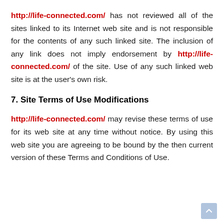http://life-connected.com/ has not reviewed all of the sites linked to its Internet web site and is not responsible for the contents of any such linked site. The inclusion of any link does not imply endorsement by http://life-connected.com/ of the site. Use of any such linked web site is at the user's own risk.
7. Site Terms of Use Modifications
http://life-connected.com/ may revise these terms of use for its web site at any time without notice. By using this web site you are agreeing to be bound by the then current version of these Terms and Conditions of Use.